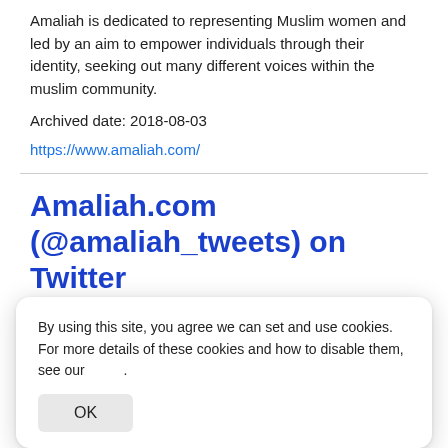Amaliah is dedicated to representing Muslim women and led by an aim to empower individuals through their identity, seeking out many different voices within the muslim community.
Archived date: 2018-08-03
https://www.amaliah.com/
Amaliah.com (@amaliah_tweets) on Twitter
By using this site, you agree we can set and use cookies. For more details of these cookies and how to disable them, see our .
OK